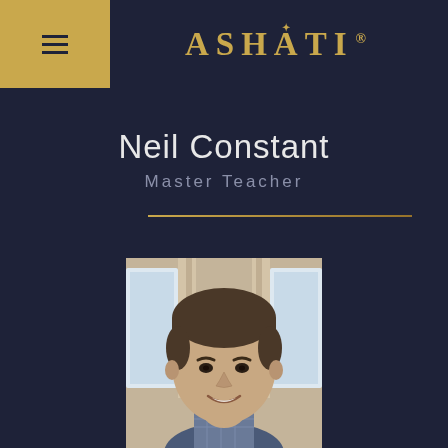ASHATI. (logo) with hamburger menu
Neil Constant
Master Teacher
[Figure (photo): Portrait photo of Neil Constant, a man with dark hair, smiling, wearing a checked shirt, photographed indoors near windows with curtains visible in background]